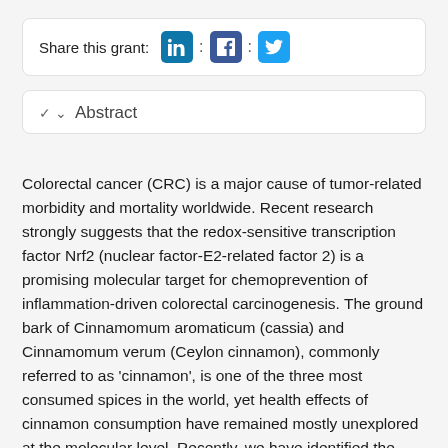Share this grant: [LinkedIn] : [Facebook] : [Twitter]
Abstract
Colorectal cancer (CRC) is a major cause of tumor-related morbidity and mortality worldwide. Recent research strongly suggests that the redox-sensitive transcription factor Nrf2 (nuclear factor-E2-related factor 2) is a promising molecular target for chemoprevention of inflammation-driven colorectal carcinogenesis. The ground bark of Cinnamomum aromaticum (cassia) and Cinnamomum verum (Ceylon cinnamon), commonly referred to as 'cinnamon', is one of the three most consumed spices in the world, yet health effects of cinnamon consumption have remained mostly unexplored at the molecular level. Recently, we have identified the cinnamon-derived food factor cinnamaldehyde as the key principle in cinnamon